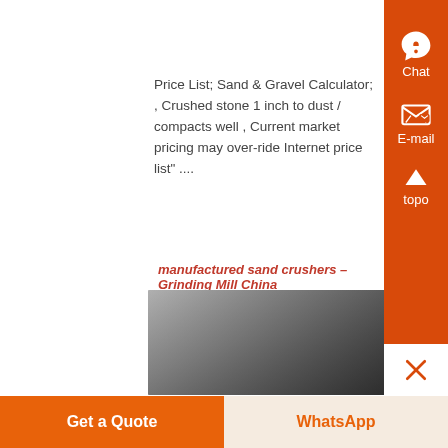[Figure (photo): Partial image of industrial equipment with green/dark tones at top of page]
Price List; Sand & Gravel Calculator; , Crushed stone 1 inch to dust / compacts well , Current market pricing may over-ride Internet price list" ....
manufactured sand crushers – Grinding Mill China
[Figure (photo): Image of a large industrial sand crusher machine in a factory/warehouse setting]
Get a Quote
WhatsApp